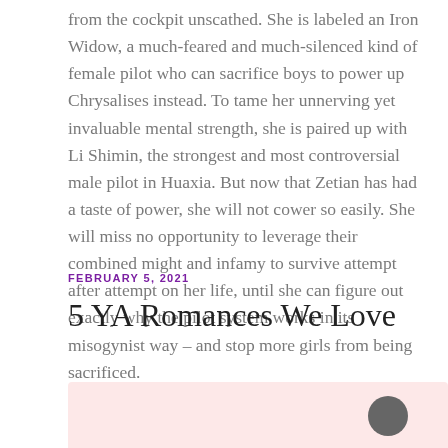from the cockpit unscathed. She is labeled an Iron Widow, a much-feared and much-silenced kind of female pilot who can sacrifice boys to power up Chrysalises instead. To tame her unnerving yet invaluable mental strength, she is paired up with Li Shimin, the strongest and most controversial male pilot in Huaxia. But now that Zetian has had a taste of power, she will not cower so easily. She will miss no opportunity to leverage their combined might and infamy to survive attempt after attempt on her life, until she can figure out exactly why the pilot system works in its misogynist way – and stop more girls from being sacrificed.
FEBRUARY 5, 2021
5 YA Romances We Love
[Figure (photo): Pink/rose-colored rectangular area at the bottom of the page, partially visible, with a small dark circular element (person portrait) in the lower right area.]